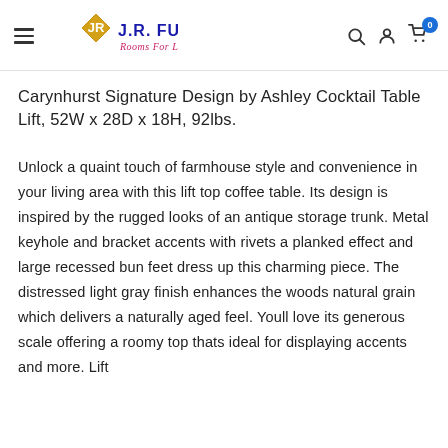J.R. FURNITURE — Rooms For Less
Carynhurst Signature Design by Ashley Cocktail Table Lift, 52W x 28D x 18H, 92lbs.
Unlock a quaint touch of farmhouse style and convenience in your living area with this lift top coffee table. Its design is inspired by the rugged looks of an antique storage trunk. Metal keyhole and bracket accents with rivets a planked effect and large recessed bun feet dress up this charming piece. The distressed light gray finish enhances the woods natural grain which delivers a naturally aged feel. Youll love its generous scale offering a roomy top thats ideal for displaying accents and more. Lift